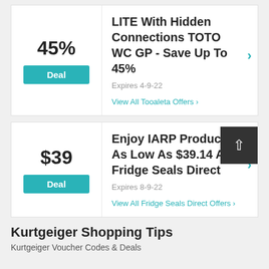45%
Deal
LITE With Hidden Connections TOTO WC GP - Save Up To 45%
Expires 4-9-22
View All Tooaleta Offers >
$39
Deal
Enjoy IARP Products As Low As $39.14 At Fridge Seals Direct
Expires 8-9-22
View All Fridge Seals Direct Offers >
Kurtgeiger Shopping Tips
Kurtgeiger Voucher Codes & Deals